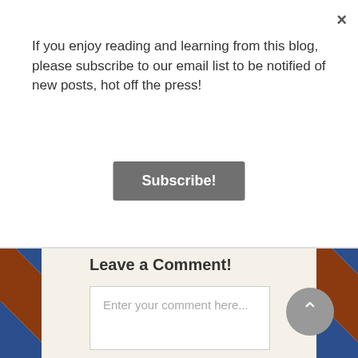If you enjoy reading and learning from this blog, please subscribe to our email list to be notified of new posts, hot off the press!
Subscribe!
Leave a Comment!
Enter your comment here...